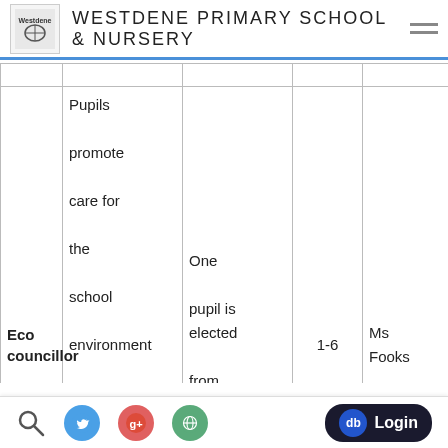WESTDENE PRIMARY SCHOOL & NURSERY
|  |  |  |  |  |
| --- | --- | --- | --- | --- |
| Eco councillor | Pupils promote care for the school environment and community by encouraging recycling, susta... | One pupil is elected from each class | 1-6 | Ms Fooks |